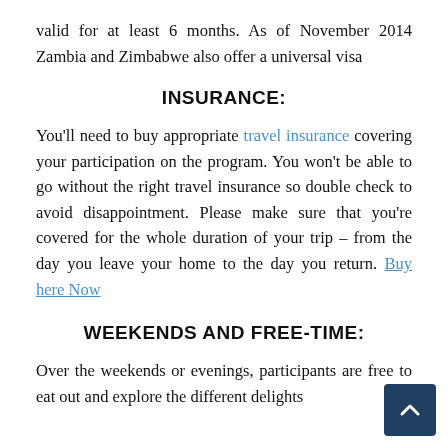valid for at least 6 months. As of November 2014 Zambia and Zimbabwe also offer a universal visa
INSURANCE:
You'll need to buy appropriate travel insurance covering your participation on the program. You won't be able to go without the right travel insurance so double check to avoid disappointment. Please make sure that you're covered for the whole duration of your trip – from the day you leave your home to the day you return. Buy here Now
WEEKENDS AND FREE-TIME:
Over the weekends or evenings, participants are free to eat out and explore the different delights